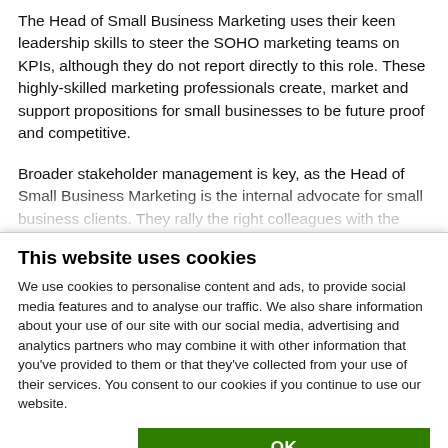The Head of Small Business Marketing uses their keen leadership skills to steer the SOHO marketing teams on KPIs, although they do not report directly to this role. These highly-skilled marketing professionals create, market and support propositions for small businesses to be future proof and competitive.
Broader stakeholder management is key, as the Head of Small Business Marketing is the internal advocate for small business clients. They rally the right colleagues with the
This website uses cookies
We use cookies to personalise content and ads, to provide social media features and to analyse our traffic. We also share information about your use of our site with our social media, advertising and analytics partners who may combine it with other information that you've provided to them or that they've collected from your use of their services. You consent to our cookies if you continue to use our website.
OK
Necessary | Preferences | Statistics | Marketing | Show details